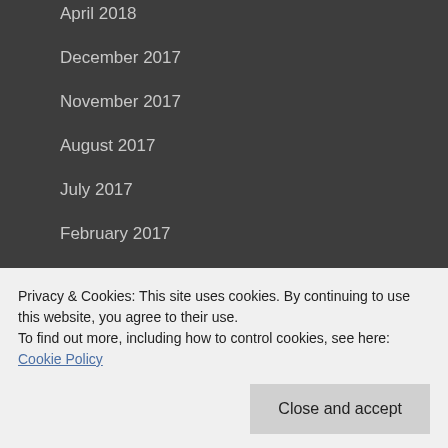April 2018
December 2017
November 2017
August 2017
July 2017
February 2017
January 2017
December 2016
November 2016
October 2016
June 2016
Privacy & Cookies: This site uses cookies. By continuing to use this website, you agree to their use.
To find out more, including how to control cookies, see here: Cookie Policy
Close and accept